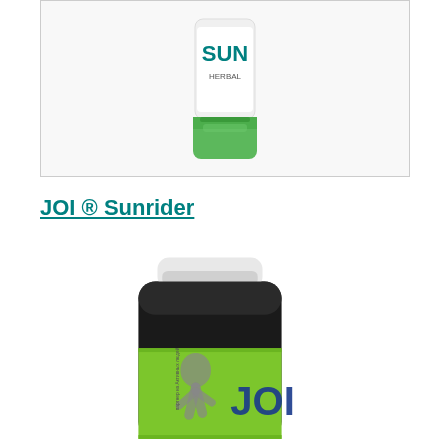[Figure (photo): Product photo of a Sunrider SUN herbal product in a white and green tube/container with green cap, shown against a light background inside a bordered box.]
JOI ® Sunrider
[Figure (photo): Product photo of JOI Sunrider supplement bottle - a dark glass jar with white cap and green label featuring the JOI logo and an image of a person, partially cropped at bottom of page.]